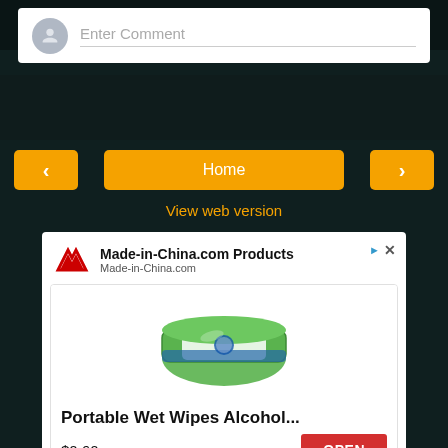[Figure (screenshot): Comment input box with avatar placeholder and 'Enter Comment' text with underline]
[Figure (screenshot): Navigation row with left arrow button, Home button, and right arrow button in orange]
View web version
[Figure (screenshot): Advertisement for Made-in-China.com Products showing Portable Wet Wipes Alcohol product at $0.60 with OPEN button]